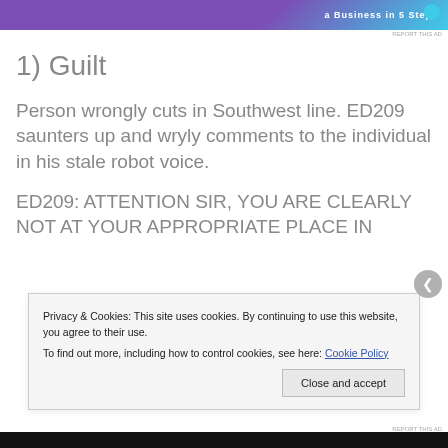[Figure (other): Purple and teal advertisement banner at top of page with text partially visible]
1) Guilt
Person wrongly cuts in Southwest line. ED209 saunters up and wryly comments to the individual in his stale robot voice.
ED209: ATTENTION SIR, YOU ARE CLEARLY NOT AT YOUR APPROPRIATE PLACE IN
Privacy & Cookies: This site uses cookies. By continuing to use this website, you agree to their use.
To find out more, including how to control cookies, see here: Cookie Policy